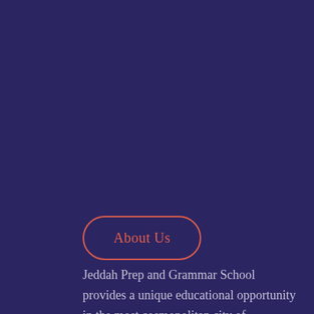About Us
Jeddah Prep and Grammar School provides a unique educational opportunity in the most cosmopolitan city of